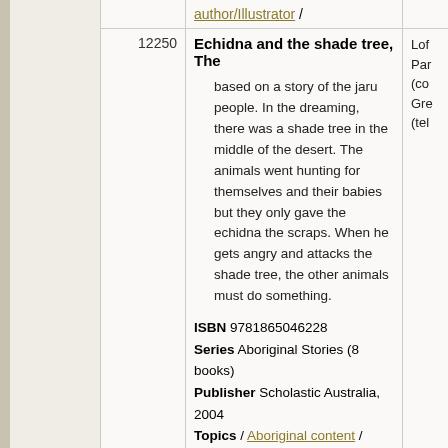| ID | Description | Info |
| --- | --- | --- |
|  | author/Illustrator / |  |
| 12250 | Echidna and the shade tree, The

based on a story of the jaru people. In the dreaming, there was a shade tree in the middle of the desert. The animals went hunting for themselves and their babies but they only gave the echidna the scraps. When he gets angry and attacks the shade tree, the other animals must do something.

ISBN 9781865046228
Series Aboriginal Stories (8 books)
Publisher Scholastic Australia, 2004
Topics / Aboriginal content / Australian author/Illustrator / | Lof...
Par...
(co...
Gre...
(tel... |